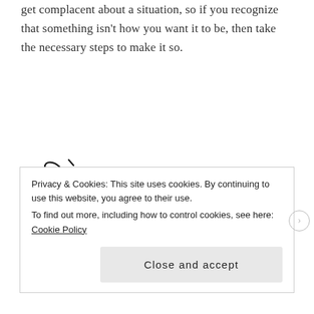get complacent about a situation, so if you recognize that something isn't how you want it to be, then take the necessary steps to make it so.
[Figure (illustration): Decorative cursive signature reading 'Eve' with an ornate swash capital E]
Privacy & Cookies: This site uses cookies. By continuing to use this website, you agree to their use.
To find out more, including how to control cookies, see here: Cookie Policy
Close and accept